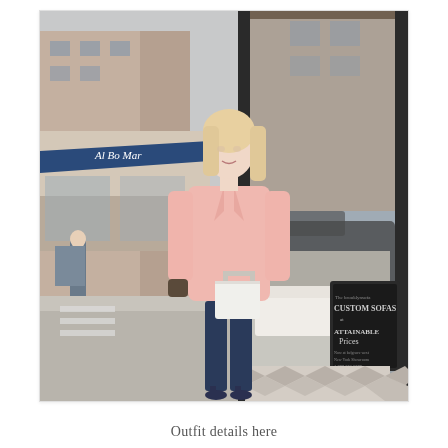[Figure (photo): A woman with blonde hair wearing a light pink oversized coat, dark skinny jeans, navy heeled pumps, and holding a white structured handbag. She is standing on a city sidewalk in front of a large glass storefront. In the background there is a blue awning store and a chalkboard sign reading 'Custom Sofas at Attainable Prices'.]
Outfit details here